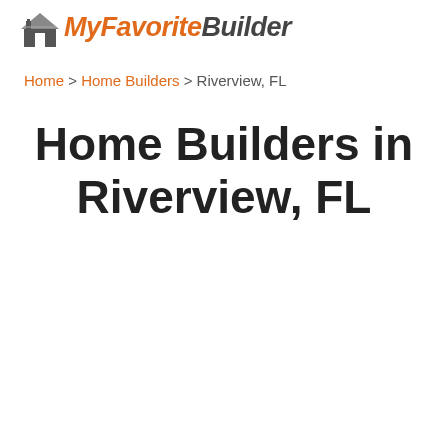MyFavoriteBuilder
Home > Home Builders > Riverview, FL
Home Builders in Riverview, FL